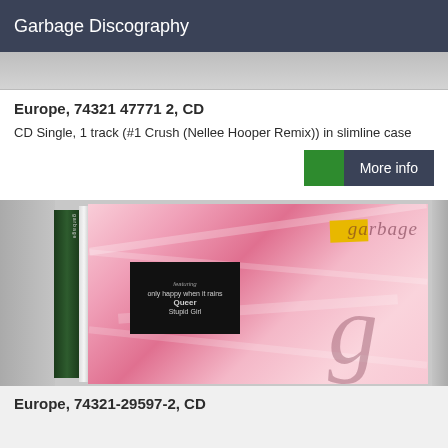Garbage Discography
[Figure (photo): Partial top of a CD single image, grey/silver tones, cropped at top of page]
Europe, 74321 47771 2, CD
CD Single, 1 track (#1 Crush (Nellee Hooper Remix)) in slimline case
More info
[Figure (photo): Photograph of a Garbage album CD case. The CD cover features a pink fluffy texture background with 'garbage' text in the top right and a large stylized G in the lower middle. A black sticker label on the front shows track listing including 'only happy when it rains', 'Queer', 'Stupid Girl'. The CD spine is dark green. There is a yellow price sticker in the upper right of the case.]
Europe, 74321-29597-2, CD